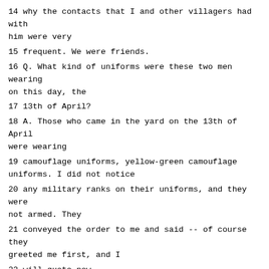14 why the contacts that I and other villagers had with him were very
15 frequent. We were friends.
16 Q. What kind of uniforms were these two men wearing on this day, the
17 13th of April?
18 A. Those who came in the yard on the 13th of April were wearing
19 camouflage uniforms, yellow-green camouflage uniforms. I did not notice
20 any military ranks on their uniforms, and they were not armed. They
21 conveyed the order to me and said -- of course they greeted me first, and I
22 will quote now.
23 "Good afternoon, sir."
24 I said: Good afternoon. I asked him: What do you want? And
25 they said that they were looking for the Hoxha, for the imam. Despite the